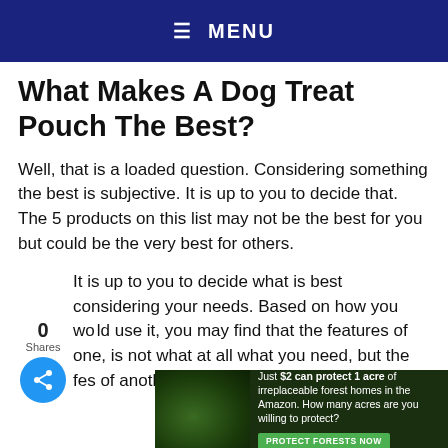≡ MENU
What Makes A Dog Treat Pouch The Best?
Well, that is a loaded question. Considering something the best is subjective. It is up to you to decide that. The 5 products on this list may not be the best for you but could be the very best for others.
It is up to you to decide what is best considering your needs. Based on how you would use it, you may find that the features of one, is not what at all what you need, but the features of another are all that you are looking
[Figure (infographic): Social share widget showing 0 Shares and a blue circular share button with share icon]
[Figure (infographic): Advertisement banner: Just $2 can protect 1 acre of irreplaceable forest homes in the Amazon. How many acres are you willing to protect? PROTECT FORESTS NOW]